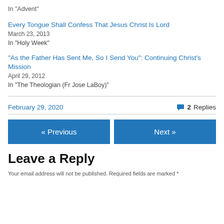In "Advent"
Every Tongue Shall Confess That Jesus Christ Is Lord
March 23, 2013
In "Holy Week"
“As the Father Has Sent Me, So I Send You”: Continuing Christ’s Mission
April 29, 2012
In "The Theologian (Fr Jose LaBoy)"
February 29, 2020
2 Replies
« Previous
Next »
Leave a Reply
Your email address will not be published. Required fields are marked *